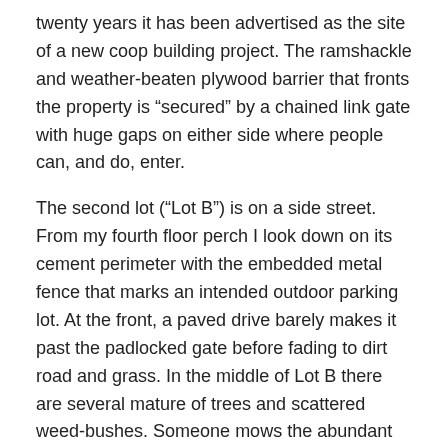twenty years it has been advertised as the site of a new coop building project. The ramshackle and weather-beaten plywood barrier that fronts the property is “secured” by a chained link gate with huge gaps on either side where people can, and do, enter.
The second lot (“Lot B”) is on a side street. From my fourth floor perch I look down on its cement perimeter with the embedded metal fence that marks an intended outdoor parking lot. At the front, a paved drive barely makes it past the padlocked gate before fading to dirt road and grass. In the middle of Lot B there are several mature of trees and scattered weed-bushes. Someone mows the abundant grass regularly. Continue reading →
Share this: